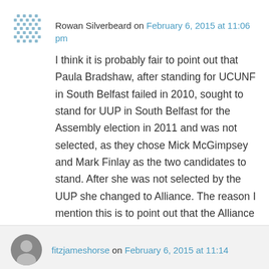Rowan Silverbeard on February 6, 2015 at 11:06 pm
I think it is probably fair to point out that Paula Bradshaw, after standing for UCUNF in South Belfast failed in 2010, sought to stand for UUP in South Belfast for the Assembly election in 2011 and was not selected, as they chose Mick McGimpsey and Mark Finlay as the two candidates to stand. After she was not selected by the UUP she changed to Alliance. The reason I mention this is to point out that the Alliance Party was not her first choice.
↳ Reply
fitzjameshorse on February 6, 2015 at 11:14